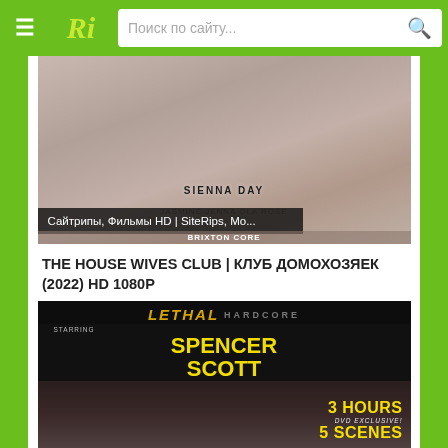Ri | Поиск по сайту...
[Figure (screenshot): Movie cover image showing Sienna Day with text overlay 'Сайтрипы, Фильмы HD | SiteRips, Mo...' and bottom text partially visible]
THE HOUSE WIVES CLUB | КЛУБ ДОМОХОЗЯЕК (2022) HD 1080P
[Figure (screenshot): Lethal Hardcore DVD cover featuring Spencer Scott, with '3 HOURS DVD EXCLUSIVE! 5 SCENES' badge]